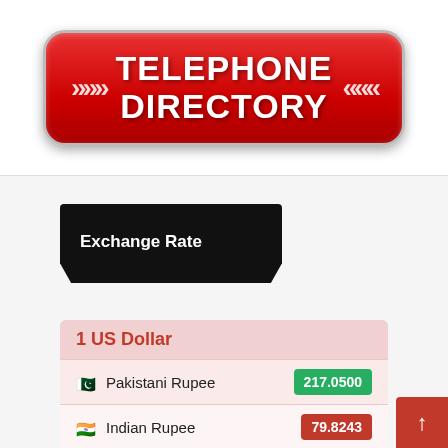[Figure (other): Red rounded button with chevron arrows and white bold text reading TELEPHONE DIRECTORY]
Exchange Rate
| Currency | Rate |
| --- | --- |
| 1 US Dollar |  |
| Pakistani Rupee | 217.0500 |
| Indian Rupee | 79.8243 |
| British Pound Sterling | 0.8440 |
| Australian Dollar | 1.4407 |
| Chinese Yuan | 6.8351 |